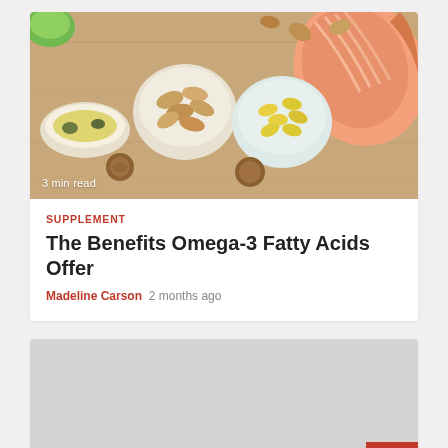[Figure (photo): Overhead photo of foods rich in omega-3 fatty acids including salmon, nuts, almonds, olive oil, and fish oil capsules in bowls on a wooden surface]
3 min read
SUPPLEMENT
The Benefits Omega-3 Fatty Acids Offer
Madeline Carson  2 months ago
[Figure (photo): Gray placeholder image for a second article with 3 min read badge]
3 min read
HEALTH